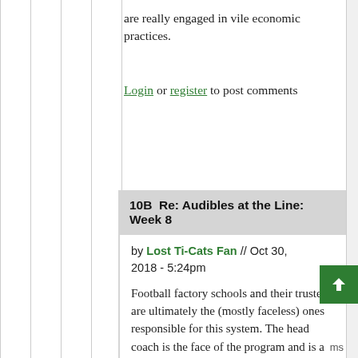are really engaged in vile economic practices.
Login or register to post comments
10B  Re: Audibles at the Line: Week 8
by Lost Ti-Cats Fan // Oct 30, 2018 - 5:24pm
Football factory schools and their trustees are ultimately the (mostly faceless) ones responsible for this system. The head coach is the face of the program and is a prime beneficiary of a system that